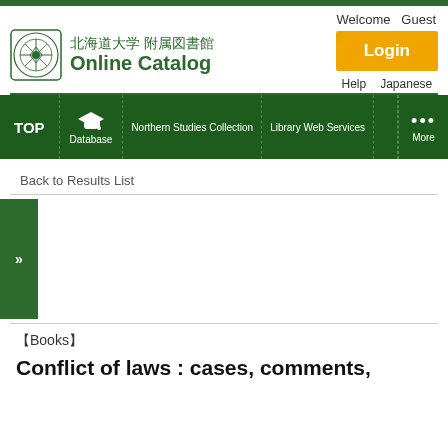Welcome  Guest
[Figure (logo): Hokkaido University Library crest logo with Online Catalog text in Japanese and English]
Login
Help  Japanese
[Figure (screenshot): Navigation bar with TOP, Database, Northern Studies Collection, Library Web Services, More tabs on dark green background]
Back to Results List
»
【Books】
Conflict of laws : cases, comments,